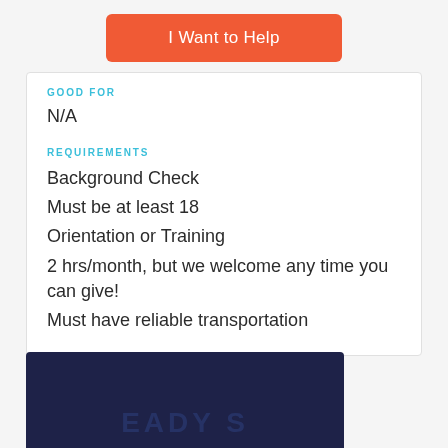[Figure (other): Orange 'I Want to Help' button]
GOOD FOR
N/A
REQUIREMENTS
Background Check
Must be at least 18
Orientation or Training
2 hrs/month, but we welcome any time you can give!
Must have reliable transportation
Report this opportunity
[Figure (logo): Dark navy blue banner with partial text 'EADY S' visible, partial logo at bottom of page]